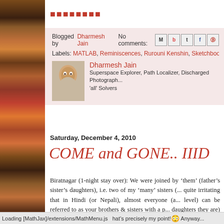▪▪▪▪▪▪▪▪
Blogged by Dharmesh Jain   No comments:
Labels: MATLAB, Reminiscences, Rurouni Kenshin, Sketchbook, Tim...
[Figure (photo): Author photo of Dharmesh Jain]
Dharmesh Jain
Superspace Explorer, Path Localizer, Discharged Photographer, 'all' Solvers
Saturday, December 4, 2010
COME and GONE.. IIID
Biratnagar (1-night stay over): We were joined by ‘them’ (father’s sister’s daughters), i.e. two of my ‘many’ sisters (... quite irritating that in Hindi (or Nepali), almost everyone (a... level) can be referred to as your brothers & sisters with a p... daughters they are) if needed but in English, they are co... you’ve got no clue what the relation is at the higher gene... that’s precisely my point! Anyway...
Loading [MathJax]/extensions/MathMenu.js   hat's precisely my point! Anyway...